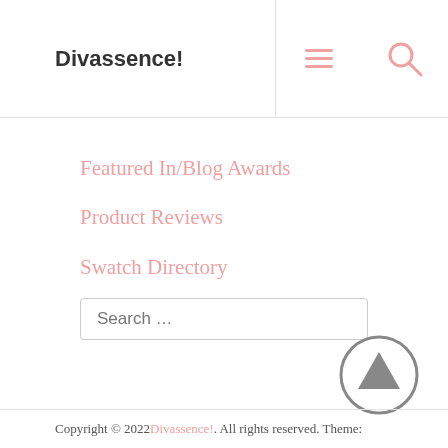Divassence!
Featured In/Blog Awards
Product Reviews
Swatch Directory
Tutorials
Search ...
Copyright © 2022 Divassence!. All rights reserved. Theme: